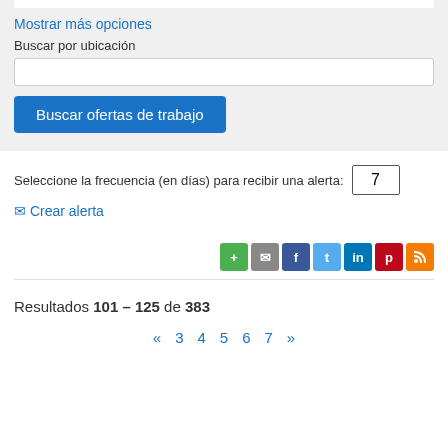Mostrar más opciones
Buscar por ubicación
Buscar ofertas de trabajo
Seleccione la frecuencia (en días) para recibir una alerta: 7
✉ Crear alerta
[Figure (other): Social sharing icons: green plus, gray email, Facebook, Twitter, LinkedIn, Pinterest, RSS]
Resultados 101 – 125 de 383
« 3 4 5 6 7 »